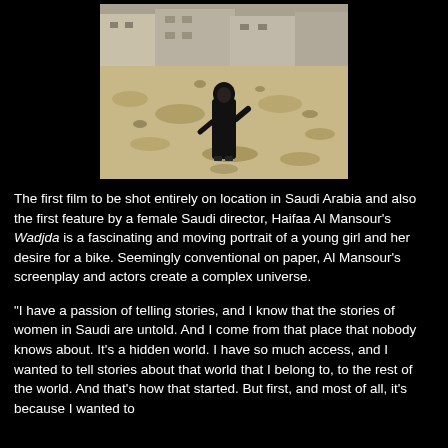[Figure (photo): A woman dressed in black abaya standing in a rocky desert landscape, buildings visible in background]
The first film to be shot entirely on location in Saudi Arabia and also the first feature by a female Saudi director, Haifaa Al Mansour's Wadjda is a fascinating and moving portrait of a young girl and her desire for a bike. Seemingly conventional on paper, Al Mansour's screenplay and actors create a complex universe.
"I have a passion of telling stories, and I know that the stories of women in Saudi are untold. And I come from that place that nobody knows about. It's a hidden world. I have so much access, and I wanted to tell stories about that world that I belong to, to the rest of the world. And that's how that started. But first, and most of all, it's because I wanted to